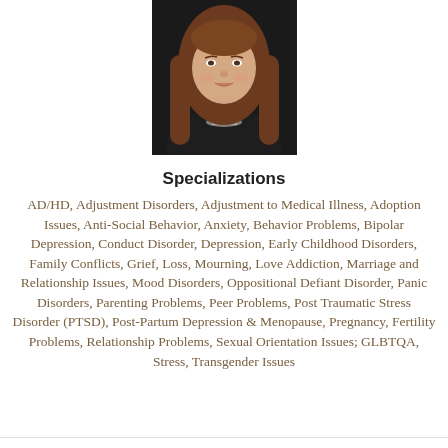[Figure (photo): Professional headshot of a woman with long brown hair wearing a dark blazer and a chunky necklace, against a dark background.]
Specializations
AD/HD, Adjustment Disorders, Adjustment to Medical Illness, Adoption Issues, Anti-Social Behavior, Anxiety, Behavior Problems, Bipolar Depression, Conduct Disorder, Depression, Early Childhood Disorders, Family Conflicts, Grief, Loss, Mourning, Love Addiction, Marriage and Relationship Issues, Mood Disorders, Oppositional Defiant Disorder, Panic Disorders, Parenting Problems, Peer Problems, Post Traumatic Stress Disorder (PTSD), Post-Partum Depression & Menopause, Pregnancy, Fertility Problems, Relationship Problems, Sexual Orientation Issues; GLBTQA, Stress, Transgender Issues